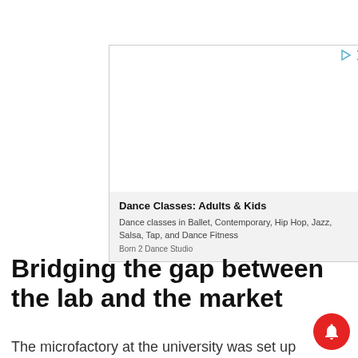[Figure (other): Advertisement box for Dance Classes with controls (play and close buttons). Contains title 'Dance Classes: Adults & Kids', description 'Dance classes in Ballet, Contemporary, Hip Hop, Jazz, Salsa, Tap, and Dance Fitness', and source 'Born 2 Dance Studio'.]
Bridging the gap between the lab and the market
The microfactory at the university was set up